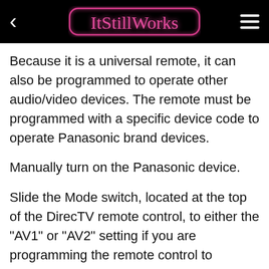ItStillWorks
Because it is a universal remote, it can also be programmed to operate other audio/video devices. The remote must be programmed with a specific device code to operate Panasonic brand devices.
Manually turn on the Panasonic device.
Slide the Mode switch, located at the top of the DirecTV remote control, to either the "AV1" or "AV2" setting if you are programming the remote control to operate a Panasonic VCR, DVD player or DVD recorder. Slide the switch to the "TV" setting if you are programming the remote to